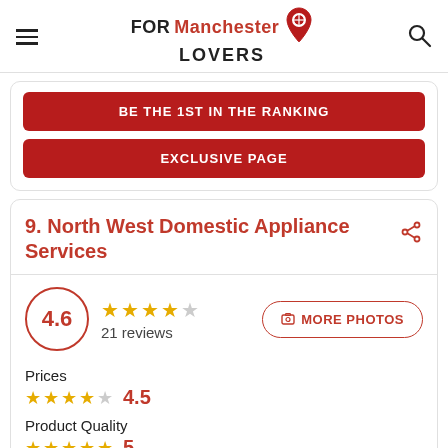FORManchester LOVERS
BE THE 1ST IN THE RANKING
EXCLUSIVE PAGE
9. North West Domestic Appliance Services
4.6  21 reviews  MORE PHOTOS
Prices  4.5
Product Quality  5